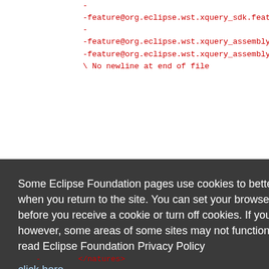-
-feature@org.eclipse.wst.xquery_sdk.feature=v2010...
-
-feature@org.eclipse.wst.xquery_assembly.feature=...
-feature@org.eclipse.wst.xquery_assembly_sdk.feat...
\ No newline at end of file
ct b/rele
Some Eclipse Foundation pages use cookies to better serve you when you return to the site. You can set your browser to notify you before you receive a cookie or turn off cookies. If you do so, however, some areas of some sites may not function properly. To read Eclipse Foundation Privacy Policy click here.
Decline
Allow cookies
- </natures>
version d
urceedit